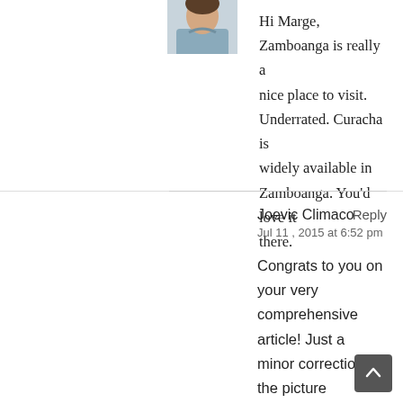[Figure (photo): Partial avatar photo of a person wearing a light blue shirt, cropped at top of page]
Hi Marge, Zamboanga is really a nice place to visit. Underrated. Curacha is widely available in Zamboanga. You'd love it there.
Joevic Climaco
Reply
Jul 11 , 2015 at 6:52 pm
Congrats to you on your very comprehensive article! Just a minor correction on the picture of Halo-halo of Palmera's, it should be Knickerbocker. 🙂